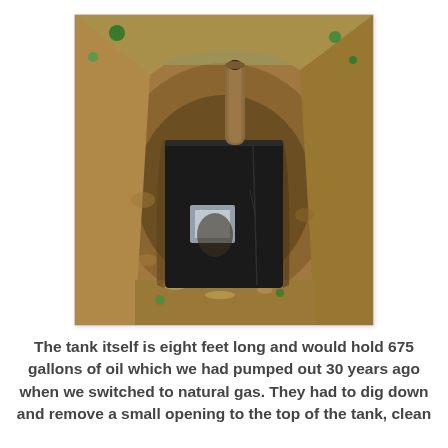[Figure (photo): An excavated hole in dirt/soil revealing a large black underground oil storage tank with its top exposed. A cylindrical pipe protrudes from the top of the tank. The surrounding earth is brown clay/dirt. The tank opening is dark/black.]
The tank itself is eight feet long and would hold 675 gallons of oil which we had pumped out 30 years ago when we switched to natural gas. They had to dig down and remove a small opening to the top of the tank, clean